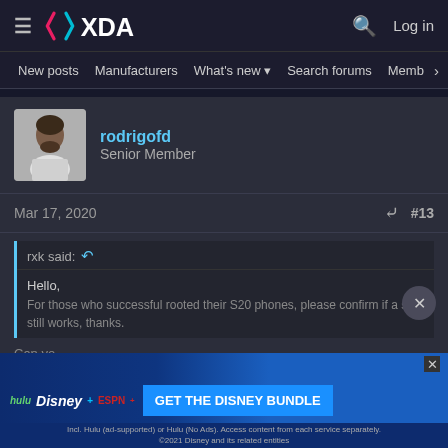XDA Developers — New posts | Manufacturers | What's new | Search forums | Members
[Figure (screenshot): XDA Developers forum header with logo, hamburger menu, search icon, and Log in button]
rodrigofd
Senior Member
Mar 17, 2020  #13
rxk said: ↩
Hello,
For those who successful rooted their S20 phones, please confirm if a sim still works, thanks.
Can yo...
[Figure (screenshot): Disney Bundle advertisement: Hulu, Disney+, ESPN+ — GET THE DISNEY BUNDLE]